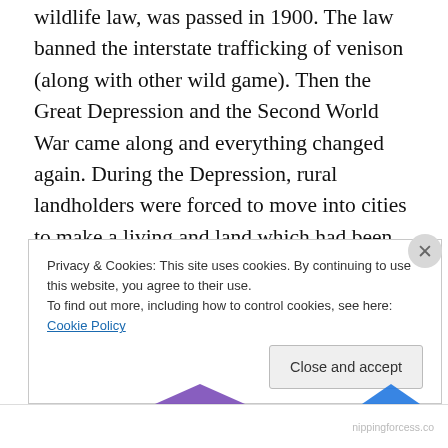wildlife law, was passed in 1900. The law banned the interstate trafficking of venison (along with other wild game). Then the Great Depression and the Second World War came along and everything changed again. During the Depression, rural landholders were forced to move into cities to make a living and land which had been under the plough began to grow back into forest. When World War II broke out a generation of hunters went abroad to shoot at the Axis instead of whitetails. After the war, in the 1950s, a clever biologist named Crockford invented a dart-gun system for capturing white-tailed deer and releasing them
Privacy & Cookies: This site uses cookies. By continuing to use this website, you agree to their use.
To find out more, including how to control cookies, see here: Cookie Policy